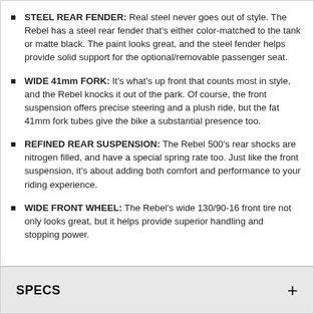STEEL REAR FENDER: Real steel never goes out of style. The Rebel has a steel rear fender that’s either color-matched to the tank or matte black. The paint looks great, and the steel fender helps provide solid support for the optional/removable passenger seat.
WIDE 41mm FORK: It’s what’s up front that counts most in style, and the Rebel knocks it out of the park. Of course, the front suspension offers precise steering and a plush ride, but the fat 41mm fork tubes give the bike a substantial presence too.
REFINED REAR SUSPENSION: The Rebel 500’s rear shocks are nitrogen filled, and have a special spring rate too. Just like the front suspension, it’s about adding both comfort and performance to your riding experience.
WIDE FRONT WHEEL: The Rebel’s wide 130/90-16 front tire not only looks great, but it helps provide superior handling and stopping power.
SPECS